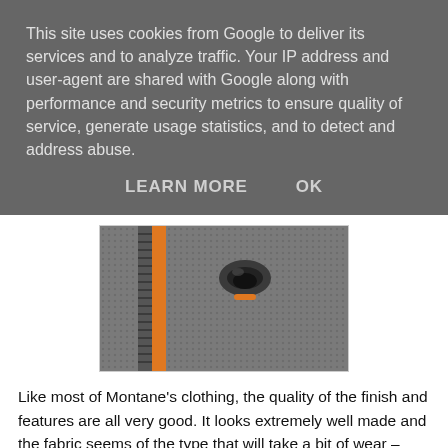This site uses cookies from Google to deliver its services and to analyze traffic. Your IP address and user-agent are shared with Google along with performance and security metrics to ensure quality of service, generate usage statistics, and to detect and address abuse.
LEARN MORE    OK
[Figure (photo): Close-up photo of a fabric zipper pull detail on grey textured fleece with orange accent stitching]
Like most of Montane’s clothing, the quality of the finish and features are all very good. It looks extremely well made and the fabric seems of the type that will take a bit of wear – perhaps more so than a normal fleece which, for me at least, tends to go a bit ‘bobbley’ after a handful of washes.
The cuffs are simply finished in a non-adjustable elasticated band.  All of my current fleeces tend to terminate cuff and waist hems in just the fleece itself. The waist is finished in a